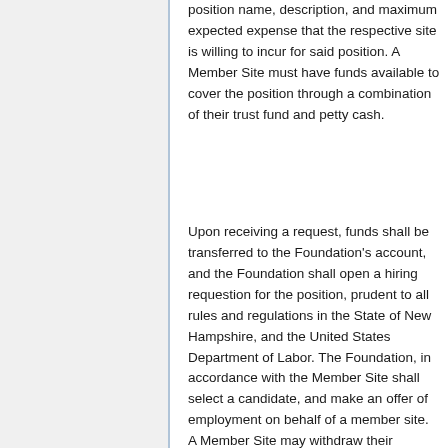position name, description, and maximum expected expense that the respective site is willing to incur for said position. A Member Site must have funds available to cover the position through a combination of their trust fund and petty cash.
Upon receiving a request, funds shall be transferred to the Foundation's account, and the Foundation shall open a hiring requestion for the position, prudent to all rules and regulations in the State of New Hampshire, and the United States Department of Labor. The Foundation, in accordance with the Member Site shall select a candidate, and make an offer of employment on behalf of a member site. A Member Site may withdraw their request for a paid position at any time; the Foundation shall return funds